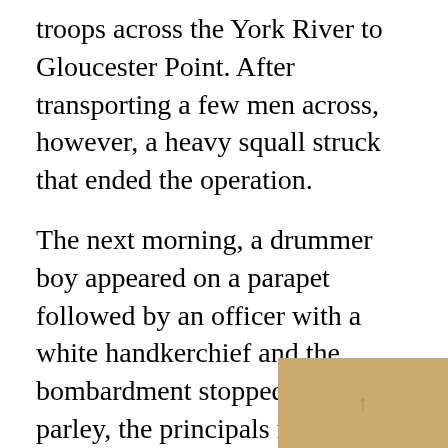troops across the York River to Gloucester Point. After transporting a few men across, however, a heavy squall struck that ended the operation.
The next morning, a drummer boy appeared on a parapet followed by an officer with a white handkerchief and the bombardment stopped. After a parley, the principals met at the Moore House, east of the battlefield, to work out the terms for surrender.
The articles of capitulation were signed on October 19. Cornwallis was nowhere to be seen when the opposing armies faced one another. He pleaded illness and took to his bed, turning these humiliating duties over to Brigadier General Charles O'Hara, his second in command.